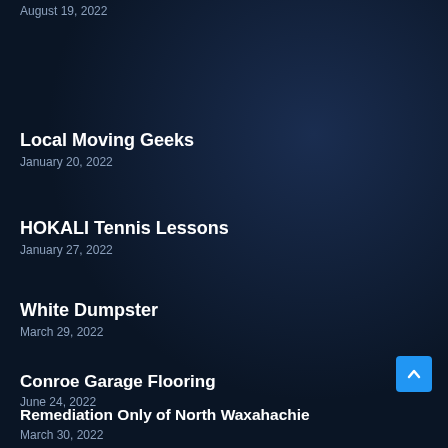August 19, 2022
Local Moving Geeks
January 20, 2022
HOKALI Tennis Lessons
January 27, 2022
White Dumpster
March 29, 2022
Conroe Garage Flooring
June 24, 2022
Remediation Only of North Waxahachie
March 30, 2022